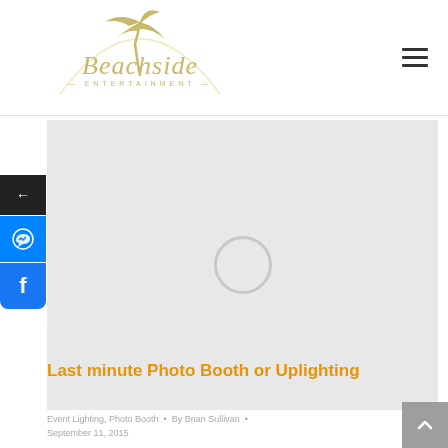[Figure (logo): Beachside Entertainment logo with palm tree and script text]
[Figure (photo): Main content image placeholder with light gray background and circular icon in center]
Last minute Photo Booth or Uplighting
Event Lighting, Photo Booth  •  By Brian Sullivan  •  September 11, 2015